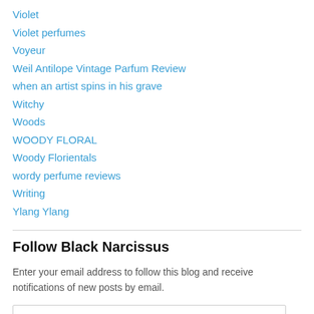Violet
Violet perfumes
Voyeur
Weil Antilope Vintage Parfum Review
when an artist spins in his grave
Witchy
Woods
WOODY FLORAL
Woody Florientals
wordy perfume reviews
Writing
Ylang Ylang
Follow Black Narcissus
Enter your email address to follow this blog and receive notifications of new posts by email.